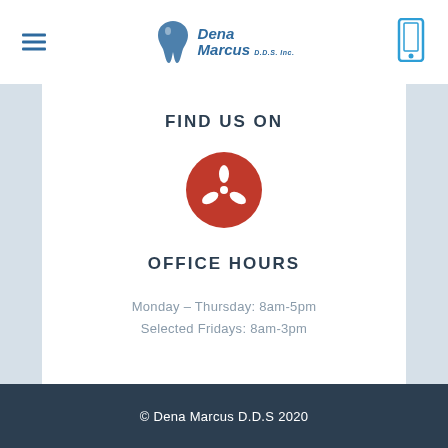[Figure (logo): Dena Marcus D.D.S. Inc. dental practice logo with tooth icon and stylized text]
FIND US ON
[Figure (logo): Yelp logo — red circle with white Yelp burst/asterisk icon]
OFFICE HOURS
Monday – Thursday: 8am-5pm
Selected Fridays: 8am-3pm
© Dena Marcus D.D.S 2020